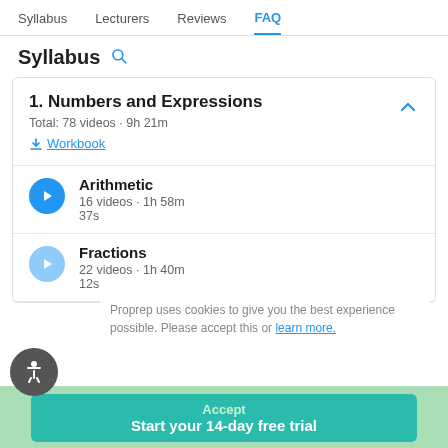Syllabus  Lecturers  Reviews  FAQ
Syllabus
1. Numbers and Expressions
Total: 78 videos · 9h 21m
Workbook
Arithmetic
16 videos · 1h 58m
37s
Fractions
22 videos · 1h 40m
12s
Proprep uses cookies to give you the best experience possible. Please accept this or learn more.
Accept
Start your 14-day free trial